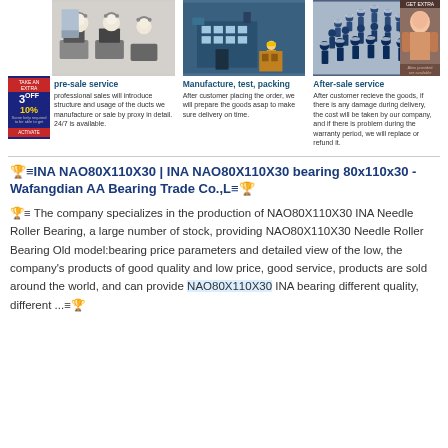[Figure (illustration): Three cartoon figures with headsets at computers - pre-sale service illustration]
[Figure (illustration): Factory building illustration - Manufacture, test, packing]
[Figure (illustration): Group of workers in blue uniforms - After-sale service illustration]
pre-sale service
professional sales will introduce structure and usage of the ducts we manufacture or sale by proxy in detail. 24/7 is available.
Manufacture, test, packing
After customer placing the order, we will prepare the goods asap to make sure delivery on time.
After-sale service
After customer recieve the goods, if there is any damage during delivery, the cost will be taken by our company, and if there is problem during the warranty period, we will replace or refund it.
🏆≡INA NAO80X110X30 | INA NAO80X110X30 bearing 80x110x30 - Wafangdian AA Bearing Trade Co.,L≡🏆
🏆≡ The company specializes in the production of NAO80X110X30 INA Needle Roller Bearing, a large number of stock, providing NAO80X110X30 Needle Roller Bearing Old model:bearing price parameters and detailed view of the low, the company's products of good quality and low price, good service, products are sold around the world, and can provide NAO80X110X30 INA bearing different quality, different ...≡🏆